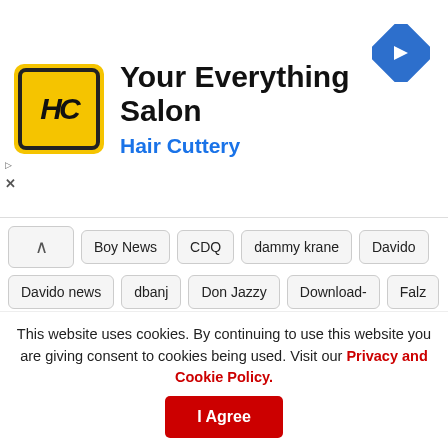[Figure (logo): Hair Cuttery advertisement banner with HC logo, title 'Your Everything Salon', subtitle 'Hair Cuttery', and navigation arrow icon]
Boy News
CDQ
dammy krane
Davido
Davido news
dbanj
Don Jazzy
Download-
Falz
Flavour
Ice Prince
Iyanya
Lil Kesh
M.I
Mayorkun
Mr. Eazi
music and gist
naija
Naira Marley News
Olamide
Olamide
Patoranking
Peruzzi
Phyno
Reekado Banks
Reminisce
Sarkodie
Simi
Skales
Tekno
Timaya
Tiwa Savage
This website uses cookies. By continuing to use this website you are giving consent to cookies being used. Visit our Privacy and Cookie Policy.